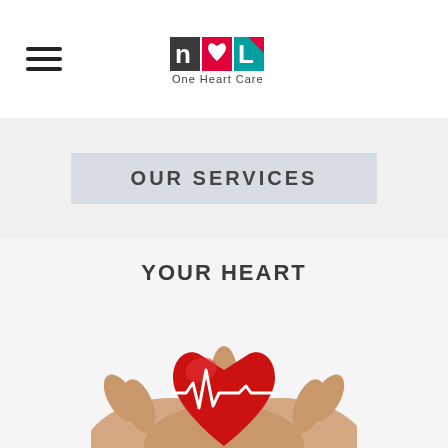[Figure (logo): One Heart Care logo with stylized 'nch' letters (teal, red heart, blue) and text 'One Heart Care' below]
OUR SERVICES
YOUR HEART
[Figure (photo): Hands cupping a red heart with a white ECG/heartbeat line overlaid on it]